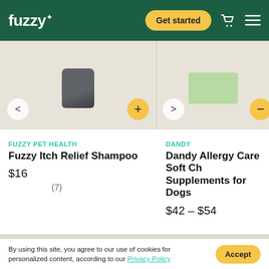fuzzy+ | Get started
[Figure (photo): Product image area showing two pet health products side by side on a beige background. Left: dark cylindrical container (Fuzzy Itch Relief Shampoo) with left arrow and plus button. Right: green card/packet (Dandy Allergy Care Soft Chews) with right arrow and minus button.]
FUZZY PET HEALTH
Fuzzy Itch Relief Shampoo
$16
(7)
DANDY
Dandy Allergy Care Soft Chews Supplements for Dogs
$42 – $54
By using this site, you agree to our use of cookies for personalized content, according to our Privacy Policy
Accept